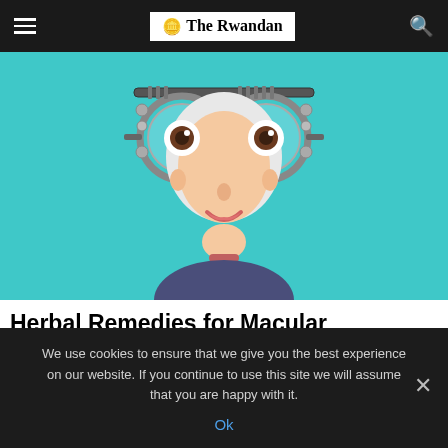The Rwandan
[Figure (illustration): Cartoon illustration of a woman wearing optometry trial frames/glasses against a teal background]
Herbal Remedies for Macular Degeneration Many People Might Not Know
Macular Degeneration Remedies | Sponsored
We use cookies to ensure that we give you the best experience on our website. If you continue to use this site we will assume that you are happy with it.
Ok